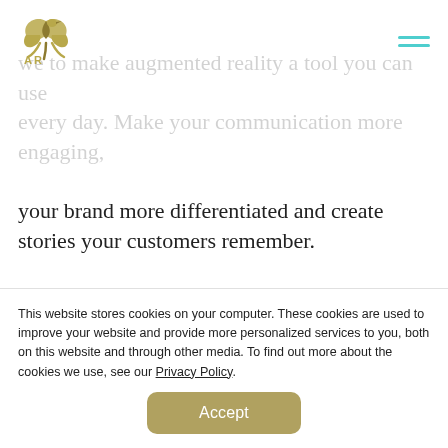AR [logo]
we to make augmented reality a tool you can use every day. Make your communication more engaging,
your brand more differentiated and create stories your customers remember.
We create case studies, guides and how-tos so you can make most of augmented reality. Subscribe to get the latest content straight to your inbox freshly once a week.
This website stores cookies on your computer. These cookies are used to improve your website and provide more personalized services to you, both on this website and through other media. To find out more about the cookies we use, see our Privacy Policy.